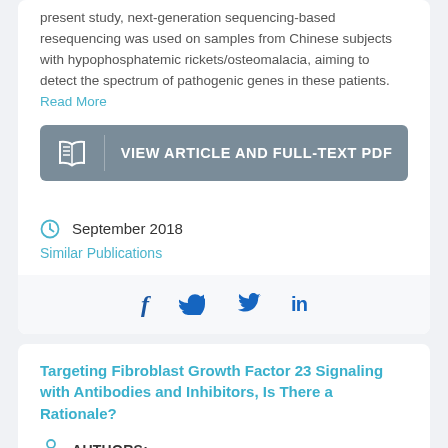present study, next-generation sequencing-based resequencing was used on samples from Chinese subjects with hypophosphatemic rickets/osteomalacia, aiming to detect the spectrum of pathogenic genes in these patients. Read More
[Figure (other): VIEW ARTICLE AND FULL-TEXT PDF button with book icon]
September 2018
Similar Publications
[Figure (other): Social sharing icons: Facebook (f), Twitter (bird), LinkedIn (in)]
Targeting Fibroblast Growth Factor 23 Signaling with Antibodies and Inhibitors, Is There a Rationale?
AUTHORS: